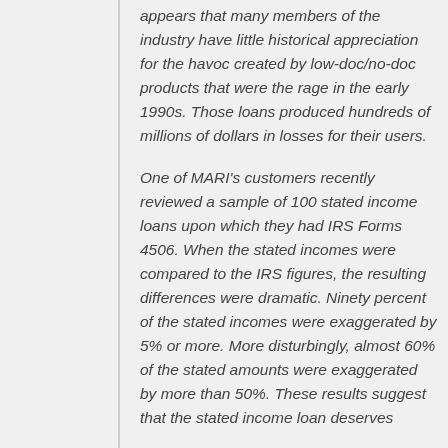appears that many members of the industry have little historical appreciation for the havoc created by low-doc/no-doc products that were the rage in the early 1990s. Those loans produced hundreds of millions of dollars in losses for their users.
One of MARI's customers recently reviewed a sample of 100 stated income loans upon which they had IRS Forms 4506. When the stated incomes were compared to the IRS figures, the resulting differences were dramatic. Ninety percent of the stated incomes were exaggerated by 5% or more. More disturbingly, almost 60% of the stated amounts were exaggerated by more than 50%. These results suggest that the stated income loan deserves